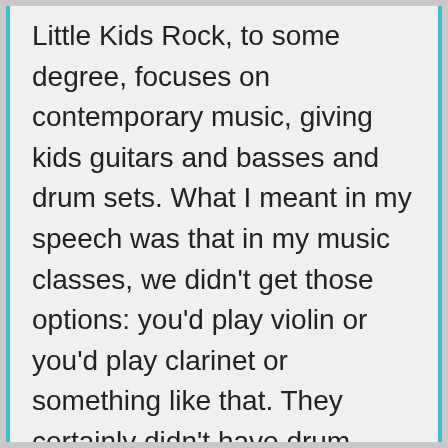Little Kids Rock, to some degree, focuses on contemporary music, giving kids guitars and basses and drum sets. What I meant in my speech was that in my music classes, we didn't get those options: you'd play violin or you'd play clarinet or something like that. They certainly didn't have drum sets, they may have had cymbals or a marching snare. But kids hear a lot of music from a young age, and if they have the inclination to want to try playing, they should have the option. I want to get more involved